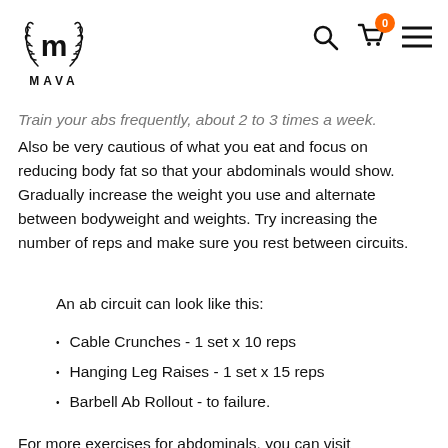MAVA
Train your abs frequently, about 2 to 3 times a week. Also be very cautious of what you eat and focus on reducing body fat so that your abdominals would show. Gradually increase the weight you use and alternate between bodyweight and weights. Try increasing the number of reps and make sure you rest between circuits.
An ab circuit can look like this:
Cable Crunches - 1 set x 10 reps
Hanging Leg Raises - 1 set x 15 reps
Barbell Ab Rollout - to failure.
For more exercises for abdominals, you can visit...